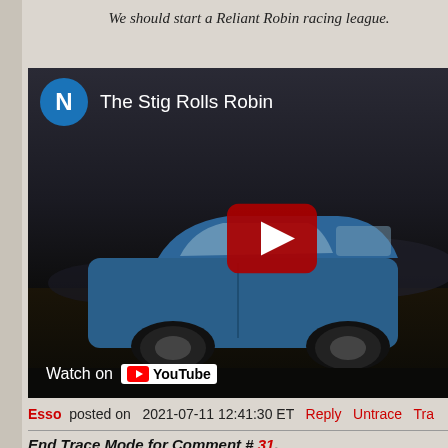We should start a Reliant Robin racing league.
[Figure (screenshot): YouTube video embed showing 'The Stig Rolls Robin' with a blue Reliant Robin car in a dark scene, featuring a red play button and 'Watch on YouTube' bar at the bottom. Channel avatar is a blue circle with letter N.]
Esso posted on 2021-07-11 12:41:30 ET Reply Untrace Tra
End Trace Mode for Comment # 31.